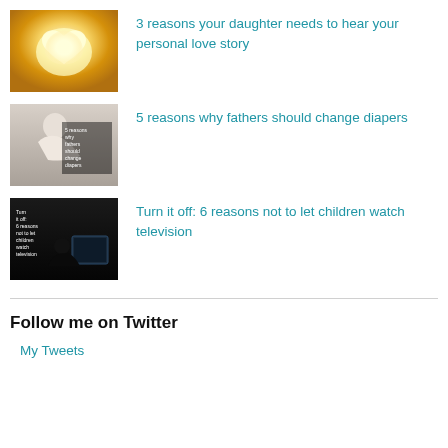3 reasons your daughter needs to hear your personal love story
5 reasons why fathers should change diapers
Turn it off: 6 reasons not to let children watch television
Follow me on Twitter
My Tweets